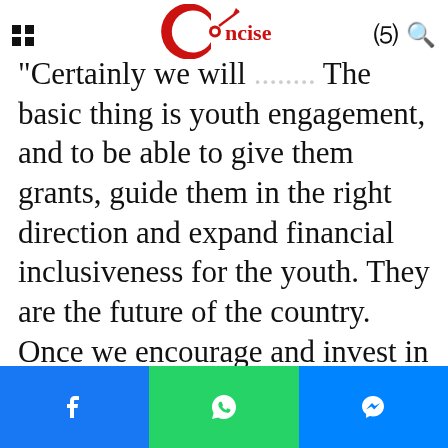Concise (logo with grid icon, moon icon, search icon)
"Certainly we will... The basic thing is youth engagement, and to be able to give them grants, guide them in the right direction and expand financial inclusiveness for the youth. They are the future of the country. Once we encourage and invest in them, then they will be the next powerhouse of our economy."
He commended the SSA on Youth Engagement Mrs Kaosara Adeyi for the initiative, and thanked every organisation that took part and made the programme a success story.